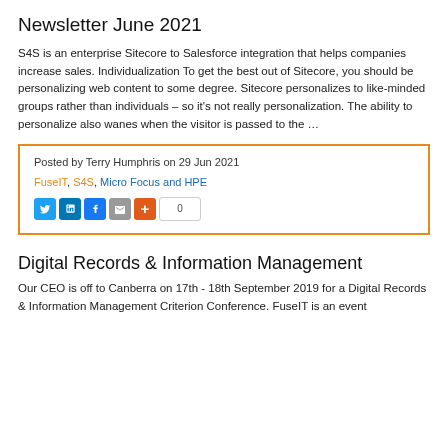Newsletter June 2021
S4S is an enterprise Sitecore to Salesforce integration that helps companies increase sales. Individualization To get the best out of Sitecore, you should be personalizing web content to some degree. Sitecore personalizes to like-minded groups rather than individuals – so it's not really personalization. The ability to personalize also wanes when the visitor is passed to the …
Posted by Terry Humphris on 29 Jun 2021
FuseIT, S4S, Micro Focus and HPE
Digital Records & Information Management
Our CEO is off to Canberra on 17th - 18th September 2019 for a Digital Records & Information Management Criterion Conference. FuseIT is an event